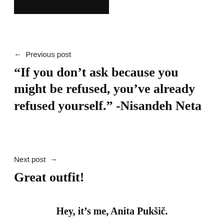[Figure (other): Black rectangular bar at top of page]
← Previous post
“If you don’t ask because you might be refused, you’ve already refused yourself.” -Nisandeh Neta
Next post →
Great outfit!
Hey, it's me, Anita Pukšič.